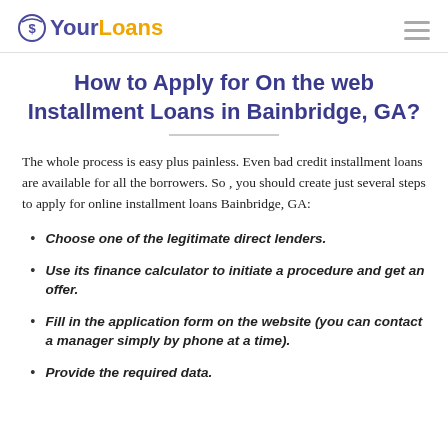YourLoans
How to Apply for On the web Installment Loans in Bainbridge, GA?
The whole process is easy plus painless. Even bad credit installment loans are available for all the borrowers. So , you should create just several steps to apply for online installment loans Bainbridge, GA:
Choose one of the legitimate direct lenders.
Use its finance calculator to initiate a procedure and get an offer.
Fill in the application form on the website (you can contact a manager simply by phone at a time).
Provide the required data.